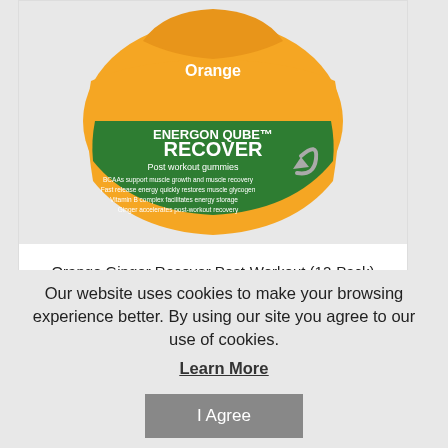[Figure (photo): Orange Ginger Recover Post-Workout gummy product bag by Energon Qube, yellow pouch with green band, in a white product card]
Orange Ginger Recover Post-Workout (12-Pack)
Our website uses cookies to make your browsing experience better. By using our site you agree to our use of cookies.
Learn More
I Agree